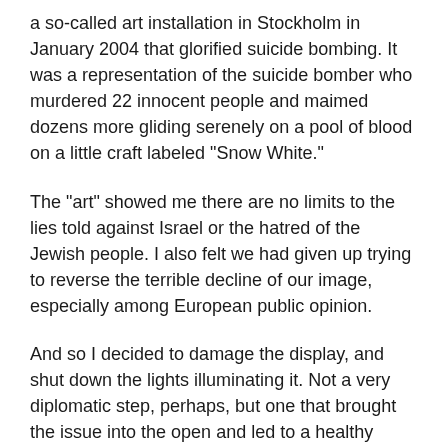a so-called art installation in Stockholm in January 2004 that glorified suicide bombing. It was a representation of the suicide bomber who murdered 22 innocent people and maimed dozens more gliding serenely on a pool of blood on a little craft labeled "Snow White."
The "art" showed me there are no limits to the lies told against Israel or the hatred of the Jewish people. I also felt we had given up trying to reverse the terrible decline of our image, especially among European public opinion.
And so I decided to damage the display, and shut down the lights illuminating it. Not a very diplomatic step, perhaps, but one that brought the issue into the open and led to a healthy discussion in Sweden and elsewhere. Israel needs a hasbara offensive. While I was an ambassador, I was stunned to discover that many people in Europe - journalists included - are convinced that in 1948 Israel occupied a